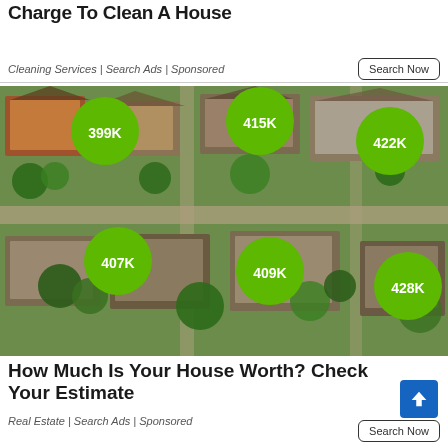Here's How Much Ashburn Maids Charge To Clean A House
Cleaning Services | Search Ads | Sponsored
[Figure (photo): Aerial view of a suburban neighborhood with green map pin markers showing home prices: 399K, 415K, 422K, 407K, 409K, 428K]
How Much Is Your House Worth? Check Your Estimate
Real Estate | Search Ads | Sponsored